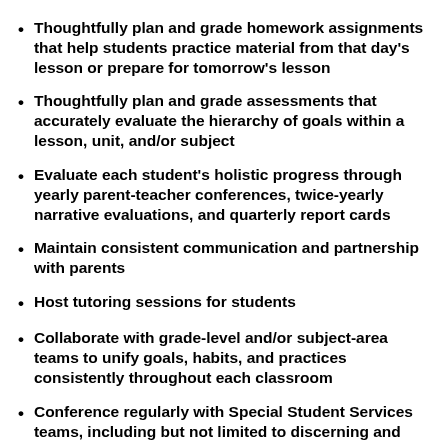Thoughtfully plan and grade homework assignments that help students practice material from that day's lesson or prepare for tomorrow's lesson
Thoughtfully plan and grade assessments that accurately evaluate the hierarchy of goals within a lesson, unit, and/or subject
Evaluate each student's holistic progress through yearly parent-teacher conferences, twice-yearly narrative evaluations, and quarterly report cards
Maintain consistent communication and partnership with parents
Host tutoring sessions for students
Collaborate with grade-level and/or subject-area teams to unify goals, habits, and practices consistently throughout each classroom
Conference regularly with Special Student Services teams, including but not limited to discerning and